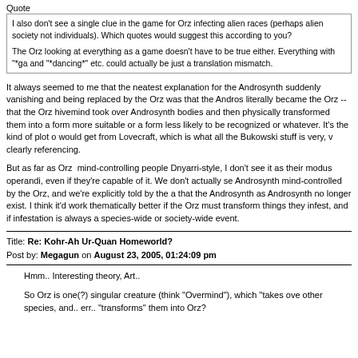Quote
I also don't see a single clue in the game for Orz infecting alien races (perhaps alien society not individuals). Which quotes would suggest this according to you?

The Orz looking at everything as a game doesn't have to be true either. Everything with "*ga and "*dancing*" etc. could actually be just a translation mismatch.
It always seemed to me that the neatest explanation for the Androsynth suddenly vanishing and being replaced by the Orz was that the Andros literally became the Orz -- that the Orz hivemind took over Androsynth bodies and then physically transformed them into a form more suitable or a form less likely to be recognized or whatever. It's the kind of plot o would get from Lovecraft, which is what all the Bukowski stuff is very, v clearly referencing.
But as far as Orz mind-controlling people Dnyarri-style, I don't see it as their modus operandi, even if they're capable of it. We don't actually se Androsynth mind-controlled by the Orz, and we're explicitly told by the that the Androsynth as Androsynth no longer exist. I think it'd work thematically better if the Orz must transform things they infest, and if infestation is always a species-wide or society-wide event.
Title: Re: Kohr-Ah Ur-Quan Homeworld?
Post by: Megagun on August 23, 2005, 01:24:09 pm
Hmm.. Interesting theory, Art..

So Orz is one(?) singular creature (think "Overmind"), which "takes ove other species, and.. err.. "transforms" them into Orz?